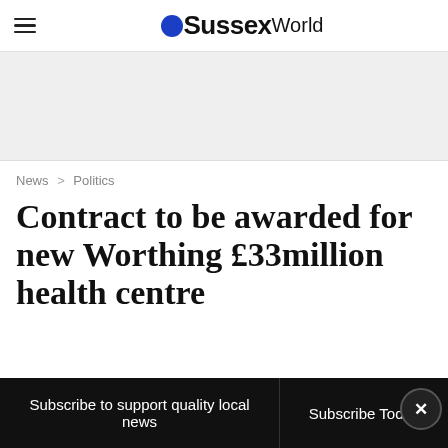OSussexWorld
[Figure (other): Grey advertisement banner area]
News > Politics
Contract to be awarded for new Worthing £33million health centre
Subscribe to support quality local news | Subscribe Today